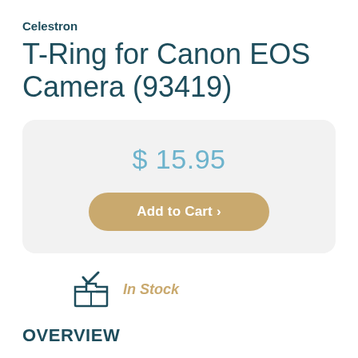Celestron
T-Ring for Canon EOS Camera (93419)
$ 15.95
Add to Cart ›
[Figure (illustration): Box with checkmark icon indicating In Stock status]
In Stock
OVERVIEW